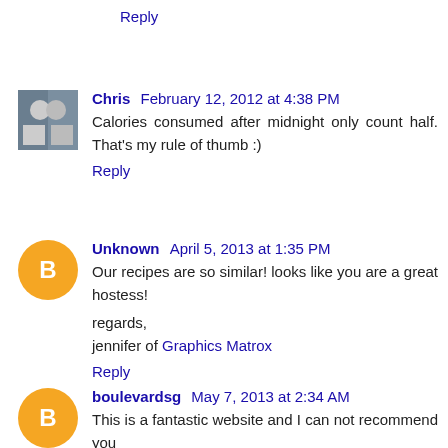Reply
Chris February 12, 2012 at 4:38 PM
Calories consumed after midnight only count half. That's my rule of thumb :)
Reply
Unknown April 5, 2013 at 1:35 PM
Our recipes are so similar! looks like you are a great hostess!

regards,
jennifer of Graphics Matrox
Reply
boulevardsg May 7, 2013 at 2:34 AM
This is a fantastic website and I can not recommend you